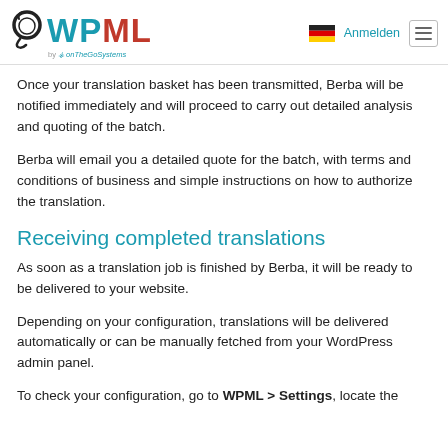WPML by onTheGoSystems — Anmelden
Once your translation basket has been transmitted, Berba will be notified immediately and will proceed to carry out detailed analysis and quoting of the batch.
Berba will email you a detailed quote for the batch, with terms and conditions of business and simple instructions on how to authorize the translation.
Receiving completed translations
As soon as a translation job is finished by Berba, it will be ready to be delivered to your website.
Depending on your configuration, translations will be delivered automatically or can be manually fetched from your WordPress admin panel.
To check your configuration, go to WPML > Settings, locate the